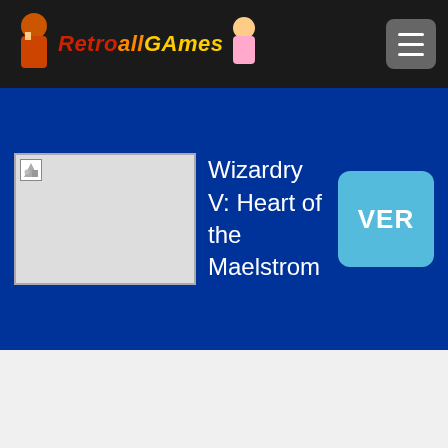RetroAllGames
[Figure (screenshot): Game thumbnail placeholder image for Wizardry V: Heart of the Maelstrom]
Wizardry V: Heart of the Maelstrom
VER